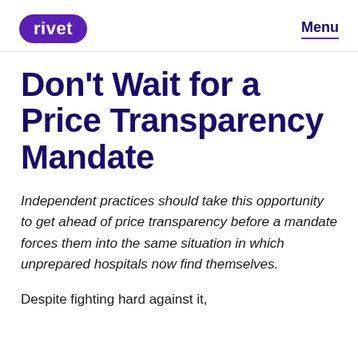rivet  Menu
Don't Wait for a Price Transparency Mandate
Independent practices should take this opportunity to get ahead of price transparency before a mandate forces them into the same situation in which unprepared hospitals now find themselves.
Despite fighting hard against it,